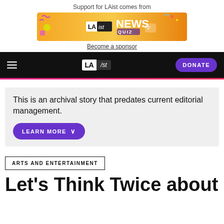Support for LAist comes from
[Figure (screenshot): LAist News Quiz advertisement banner with orange/yellow background]
Become a sponsor
LAist navigation bar with hamburger menu, LAist logo, and DONATE button
This is an archival story that predates current editorial management.
LEARN MORE
ARTS AND ENTERTAINMENT
Let's Think Twice about